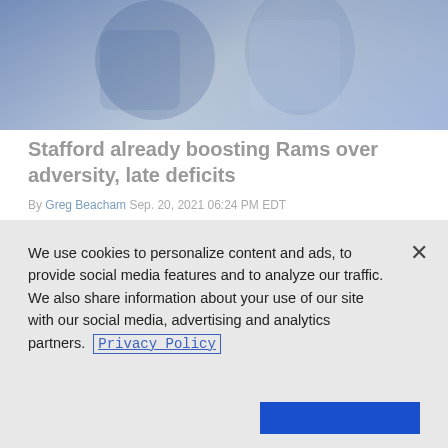[Figure (photo): Two NFL players in blue and white jerseys, cropped at top, faded/muted color tone]
Stafford already boosting Rams over adversity, late deficits
By Greg Beacham Sep. 20, 2021 06:24 PM EDT
[Figure (photo): Los Angeles Rams quarterback wearing blue and yellow helmet, crowd of fans in background, muted color tone]
We use cookies to personalize content and ads, to provide social media features and to analyze our traffic. We also share information about your use of our site with our social media, advertising and analytics partners. Privacy Policy